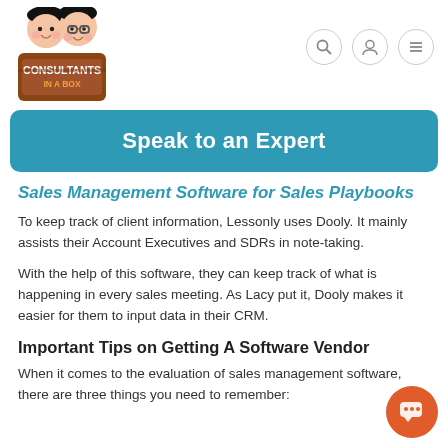[Figure (logo): Consultants In A Box logo with two cartoon figures and a brown box]
[Figure (illustration): Navigation icons: search (magnifying glass), user profile, and hamburger menu, each in a light circular border]
[Figure (infographic): Teal/blue rounded rectangle banner with white bold text: Speak to an Expert]
Sales Management Software for Sales Playbooks
To keep track of client information, Lessonly uses Dooly. It mainly assists their Account Executives and SDRs in note-taking.
With the help of this software, they can keep track of what is happening in every sales meeting. As Lacy put it, Dooly makes it easier for them to input data in their CRM.
Important Tips on Getting A Software Vendor
When it comes to the evaluation of sales management software, there are three things you need to remember:
[Figure (illustration): Orange circular chat bubble button in bottom-right corner with speech bubble icon]